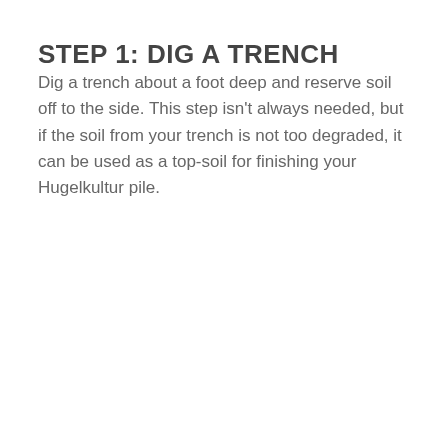STEP 1: DIG A TRENCH
Dig a trench about a foot deep and reserve soil off to the side. This step isn't always needed, but if the soil from your trench is not too degraded, it can be used as a top-soil for finishing your Hugelkultur pile.